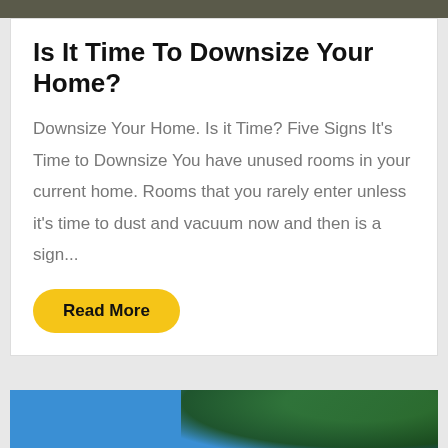[Figure (photo): Top portion of an outdoor photo showing dark tones, partially cropped at top of page]
Is It Time To Downsize Your Home?
Downsize Your Home. Is it Time? Five Signs It's Time to Downsize You have unused rooms in your current home. Rooms that you rarely enter unless it’s time to dust and vacuum now and then is a sign...
Read More
[Figure (photo): Bottom outdoor photo showing blue sky and green tree foliage, partially cropped at bottom of page]